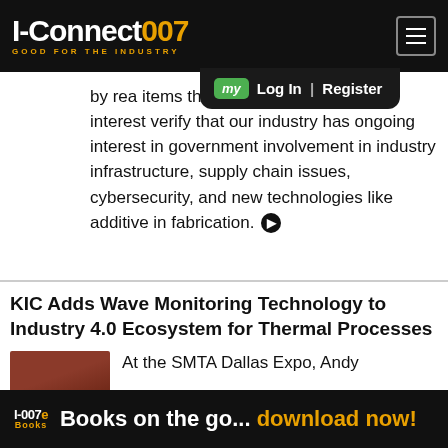I-Connect007 — GOOD FOR THE INDUSTRY
by rea… items that drew the most reader interest verify that our industry has ongoing interest in government involvement in industry infrastructure, supply chain issues, cybersecurity, and new technologies like additive in fabrication.
KIC Adds Wave Monitoring Technology to Industry 4.0 Ecosystem for Thermal Processes
At the SMTA Dallas Expo, Andy
Books on the go... download now!